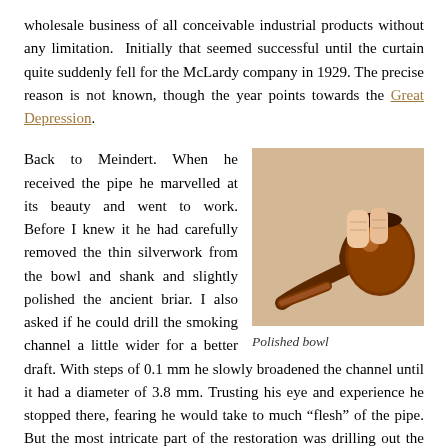wholesale business of all conceivable industrial products without any limitation. Initially that seemed successful until the curtain quite suddenly fell for the McLardy company in 1929. The precise reason is not known, though the year points towards the Great Depression.
Back to Meindert. When he received the pipe he marvelled at its beauty and went to work. Before I knew it he had carefully removed the thin silverwork from the bowl and shank and slightly polished the ancient briar. I also asked if he could drill the smoking channel a little wider for a better draft. With steps of 0.1 mm he slowly broadened the channel until it had a diameter of 3.8 mm. Trusting his eye and experience he stopped there, fearing he would take to much “flesh” of the pipe. But the most intricate part of the restoration was drilling out the screw-thread from the mortise. Back in the days one screwed the mouthpiece onto the pipe. This may sound as blasphemy to some but I wanted a “modern” push/pull stem.
[Figure (photo): A polished brown briar pipe bowl being held between two fingers, showing a rounded bowl shape with a glossy finish, photographed against a light beige background.]
Polished bowl